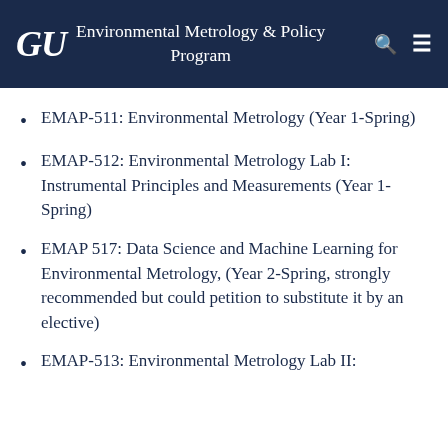GU Environmental Metrology & Policy Program
EMAP-511: Environmental Metrology (Year 1-Spring)
EMAP-512: Environmental Metrology Lab I: Instrumental Principles and Measurements (Year 1-Spring)
EMAP 517: Data Science and Machine Learning for Environmental Metrology, (Year 2-Spring, strongly recommended but could petition to substitute it by an elective)
EMAP-513: Environmental Metrology Lab II: